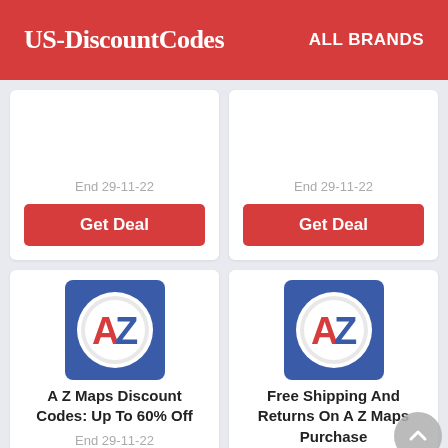US-DiscountCodes | ALL BRANDS
End 29-11-22
Get Deal
End 29-11-22
Get Deal
[Figure (logo): A Z Maps logo: blue square background with a white circular badge showing red letter A and blue letter Z]
A Z Maps Discount Codes: Up To 60% Off
End 29-11-22
Get Deal
[Figure (logo): A Z Maps logo: blue square background with a white circular badge showing red letter A and blue letter Z]
Free Shipping And Returns On A Z Maps Purchase
End 29-11-22
Get Deal